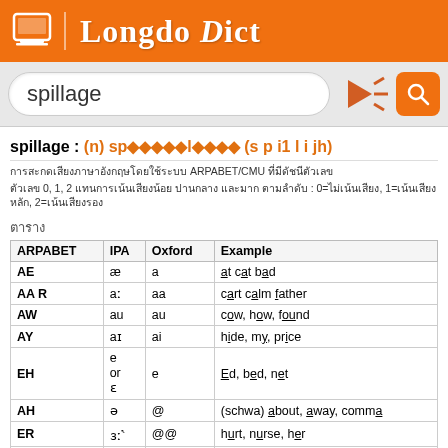Longdo Dict
spillage
spillage : (n) sp◆◆◆◆◆l◆◆◆◆ (s p i1 l i jh)
การสะกดเสียงภาษาอังกฤษโดยใช้ระบบ ARPABET/CMU ที่มีดัชนีตัวเลข
ตัวเลข 0, 1, 2 แทนการเน้นเสียงน้อย ปานกลาง และมาก ตามลำดับ : 0=ไม่เน้นเสียง, 1=เน้นเสียงหลัก, 2=เน้นเสียงรอง
ตาราง
| ARPABET | IPA | Oxford | Example |
| --- | --- | --- | --- |
| AE | æ | a | at cat bad |
| AA R | aː | aa | cart calm father |
| AW | au | au | cow, how, found |
| AY | aɪ | ai | hide, my, price |
| EH | e or ɛ | e | Ed, bed, net |
| AH | ə | @ | (schwa) about, away, comma |
| ER | ɜː˞ | @@ | hurt, nurse, her |
| EY | ɛɪ | ei | date, fate, day |
| IH | ɪ | i | it, sit, bit |